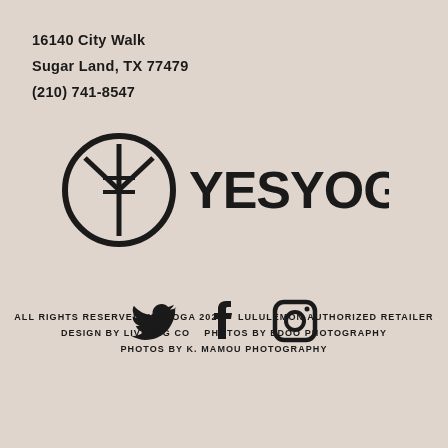16140 City Walk
Sugar Land, TX 77479
(210) 741-8547
[Figure (logo): YESYOGA logo — circular emblem with stylized Y/fork shape and bold YESYOGA wordmark]
[Figure (illustration): Social media icons: Twitter bird, Facebook f, Instagram camera]
ALL RIGHTS RESERVED YESYOGA 2022    LULULEMON AUTHORIZED RETAILER
DESIGN BY LIVE BIG CO    PHOTOS BY EDOO PHOTOGRAPHY
PHOTOS BY K. MAMOU PHOTOGRAPHY